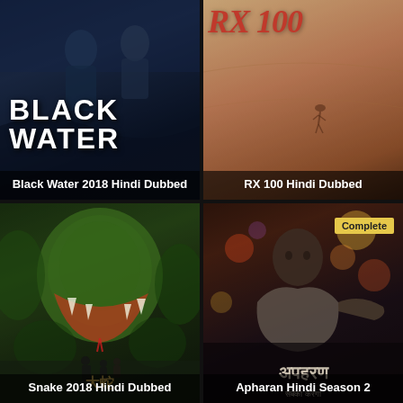[Figure (photo): Movie poster for Black Water 2018 Hindi Dubbed. Dark background with soldiers and American flag, large white text reading BLACK WATER.]
Black Water 2018 Hindi Dubbed
[Figure (photo): Movie poster for RX 100 Hindi Dubbed. Sandy/brown background with red stylized text RX 100 at top, person falling in center.]
RX 100 Hindi Dubbed
[Figure (photo): Movie poster for Snake 2018 Hindi Dubbed. Giant green snake with open jaws looming over small human figures in jungle setting. Chinese characters at bottom.]
Snake 2018 Hindi Dubbed
[Figure (photo): Movie poster for Apharan Hindi Season 2. Man in grey shawl with intense expression. Colorful bokeh lights in background. Hindi title text at bottom. Complete badge in top right.]
Apharan Hindi Season 2